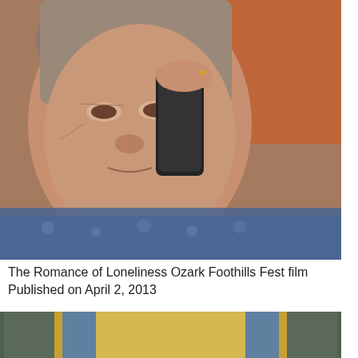[Figure (photo): Close-up photo of an elderly woman holding a black telephone handset to her ear, looking at camera with a serious expression.]
The Romance of Loneliness Ozark Foothills Fest film
Published on April 2, 2013
[Figure (photo): Photo of Pope Francis kneeling in prayer at an ornate altar inside an elaborately decorated chapel with golden mosaics and arched ceiling.]
In this picture made available by the Vatican newspaper L'Osservatore Romano, Pope Francis, flanked by Cardinal